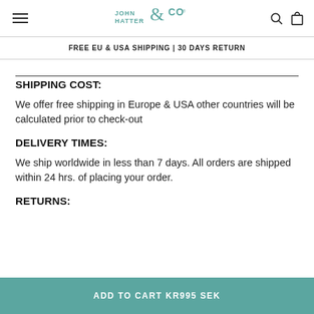JOHN HATTER & CO
FREE EU & USA SHIPPING | 30 DAYS RETURN
SHIPPING COST:
We offer free shipping in Europe & USA other countries will be calculated prior to check-out
DELIVERY TIMES:
We ship worldwide in less than 7 days. All orders are shipped within 24 hrs. of placing your order.
RETURNS:
ADD TO CART KR995 SEK